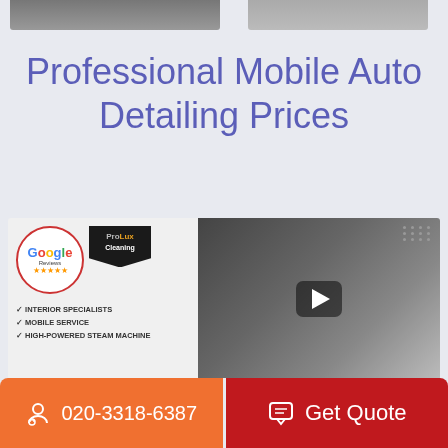[Figure (photo): Top portion of two photos partially visible at top of page — left shows a dark interior car scene, right shows a close-up of a car component]
Professional Mobile Auto Detailing Prices
[Figure (screenshot): Video thumbnail showing ProLux Cleaning branding with Google Reviews badge, service list (Interior Specialists, Mobile Service, High-Powered Steam Machine), and a car interior cleaning video with play button]
020-3318-6387
Get Quote